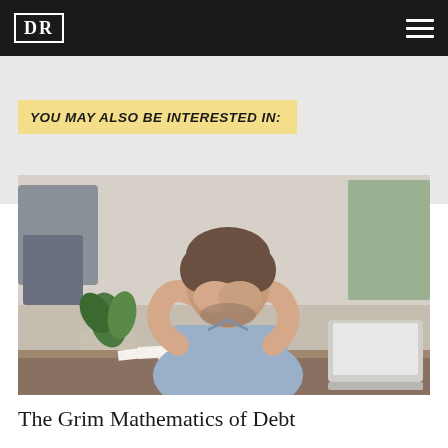DR
YOU MAY ALSO BE INTERESTED IN:
[Figure (photo): Man sitting at a desk with his head in his hands, looking stressed, with papers and a laptop in front of him, and a plant to the left side.]
The Grim Mathematics of Debt